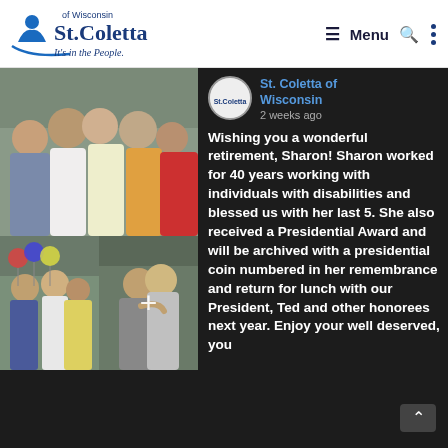[Figure (logo): St. Coletta of Wisconsin logo with tagline 'It's in the People.']
≡ Menu 🔍 ⋮
[Figure (photo): Collage of four photos showing a retirement celebration for Sharon at St. Coletta of Wisconsin. Top: group photo of women smiling. Bottom left: people standing with balloons. Bottom right: two people hugging. A '+' icon overlays the bottom right indicating more photos.]
[Figure (logo): St. Coletta of Wisconsin circular profile avatar]
St. Coletta of Wisconsin
2 weeks ago
Wishing you a wonderful retirement, Sharon! Sharon worked for 40 years working with individuals with disabilities and blessed us with her last 5. She also received a Presidential Award and will be archived with a presidential coin numbered in her remembrance and return for lunch with our President, Ted and other honorees next year. Enjoy your well deserved, you